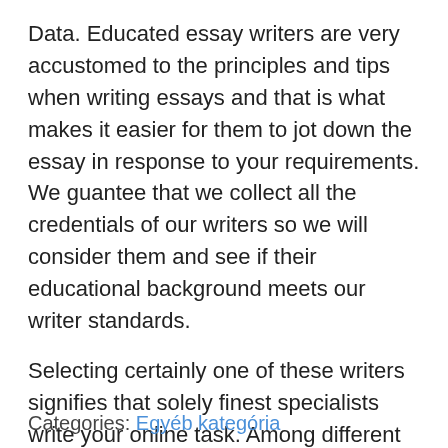Data. Educated essay writers are very accustomed to the principles and tips when writing essays and that is what makes it easier for them to jot down the essay in response to your requirements. We guantee that we collect all the credentials of our writers so we will consider them and see if their educational background meets our writer standards.
Selecting certainly one of these writers signifies that solely finest specialists write your online task. Among different companies, you may make use of 1-web page abstracts and essay outlines – if needed. Our common writers' rating is nearly ninety six%, and the rate is ever-rising due to our comprehensive strategy to analysis, common plagiarism reviews, double-test system and timeliness of delivery.
Categories: Egyéb kategória